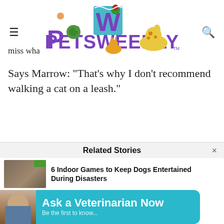[Figure (logo): PetsWeekly logo with cartoon animals (turtle, cat, dog, parrot, hamster) around large purple stylized text 'PETSWEEKLY']
miss wha
Says Marrow: “That’s why I don’t recommend walking a cat on a leash.”
Learn more about Walking Your Cat: Enclosures vs Leashes and how you can keep your outdoor cat indoors with some innovative designs.
Related Stories
6 Indoor Games to Keep Dogs Entertained During Disasters
[Figure (infographic): Teal/cyan banner with circular avatar photo of a man and bold white text 'Ask a Veterinarian Now']